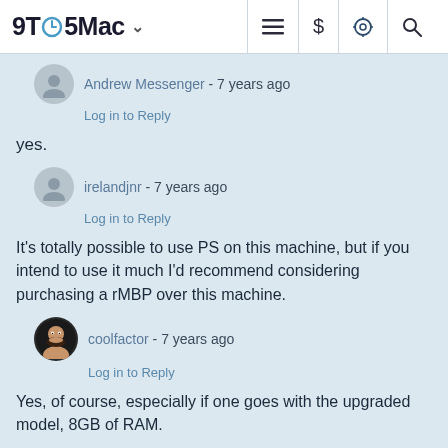9TO5Mac
Andrew Messenger - 7 years ago
Log in to Reply
yes.
irelandjnr - 7 years ago
Log in to Reply
It's totally possible to use PS on this machine, but if you intend to use it much I'd recommend considering purchasing a rMBP over this machine.
coolfactor - 7 years ago
Log in to Reply
Yes, of course, especially if one goes with the upgraded model, 8GB of RAM.